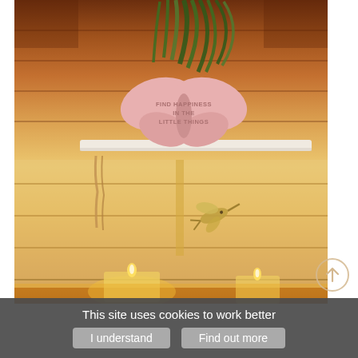[Figure (photo): Interior photo showing a cozy warm-lit wooden shelf/cabinet scene. On the top shelf sits a pink butterfly-shaped decorative sign reading 'FIND HAPPINESS IN THE LITTLE THINGS' with a green plant behind it. Below the shelf hangs a rope/twine, and a small metallic hummingbird ornament is visible. At the bottom are glowing candles creating a warm amber atmosphere. A scroll-to-top arrow button (circle with upward arrow) is visible in the lower right corner.]
This site uses cookies to work better
I understand
Find out more